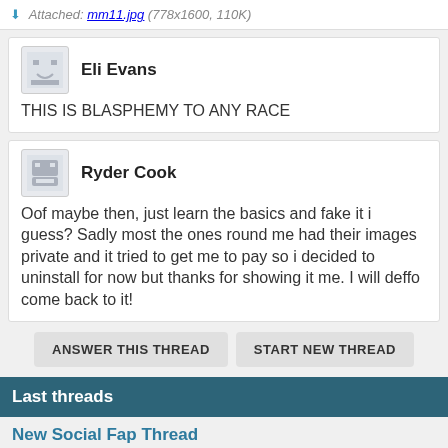Attached: mm11.jpg (778x1600, 110K)
Eli Evans
THIS IS BLASPHEMY TO ANY RACE
Ryder Cook
Oof maybe then, just learn the basics and fake it i guess? Sadly most the ones round me had their images private and it tried to get me to pay so i decided to uninstall for now but thanks for showing it me. I will deffo come back to it!
ANSWER THIS THREAD
START NEW THREAD
Last threads
New Social Fap Thread